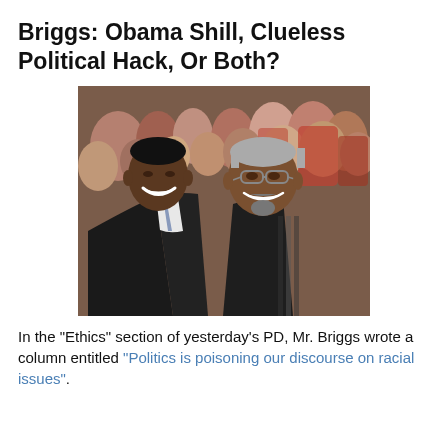Briggs: Obama Shill, Clueless Political Hack, Or Both?
[Figure (photo): Two men smiling together in a group photo setting. The man on the left wears a dark suit and patterned tie. The man on the right is older with grey hair and glasses, wearing a dark shirt. A crowd is visible in the background.]
In the "Ethics" section of yesterday's PD, Mr. Briggs wrote a column entitled "Politics is poisoning our discourse on racial issues".